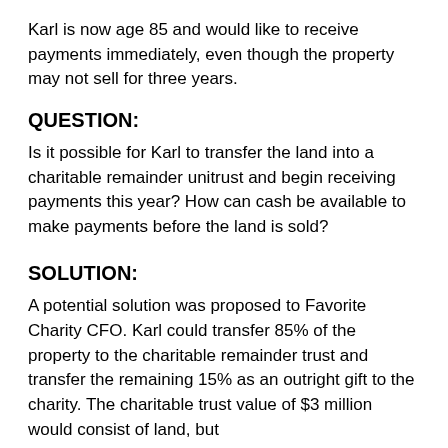Karl is now age 85 and would like to receive payments immediately, even though the property may not sell for three years.
QUESTION:
Is it possible for Karl to transfer the land into a charitable remainder unitrust and begin receiving payments this year? How can cash be available to make payments before the land is sold?
SOLUTION:
A potential solution was proposed to Favorite Charity CFO. Karl could transfer 85% of the property to the charitable remainder trust and transfer the remaining 15% as an outright gift to the charity. The charitable trust value of $3 million would consist of land, but